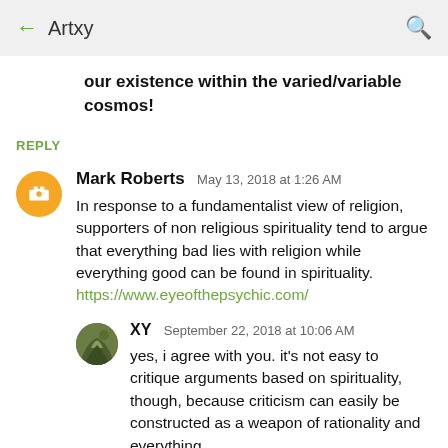← Artxy 🔍
our existence within the varied/variable cosmos!
REPLY
Mark Roberts  May 13, 2018 at 1:26 AM
In response to a fundamentalist view of religion, supporters of non religious spirituality tend to argue that everything bad lies with religion while everything good can be found in spirituality.
https://www.eyeofthepsychic.com/
XY  September 22, 2018 at 10:06 AM
yes, i agree with you. it's not easy to critique arguments based on spirituality, though, because criticism can easily be constructed as a weapon of rationality and everything